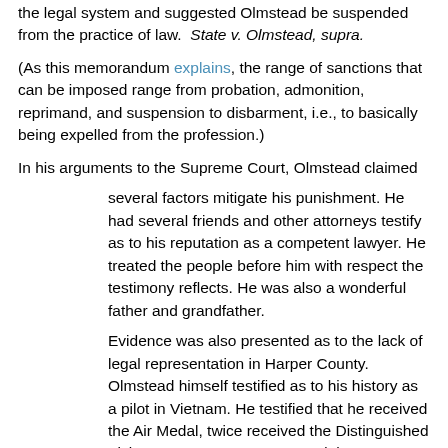the legal system and suggested Olmstead be suspended from the practice of law. State v. Olmstead, supra.
(As this memorandum explains, the range of sanctions that can be imposed range from probation, admonition, reprimand, and suspension to disbarment, i.e., to basically being expelled from the profession.)
In his arguments to the Supreme Court, Olmstead claimed
several factors mitigate his punishment. He had several friends and other attorneys testify as to his reputation as a competent lawyer. He treated the people before him with respect the testimony reflects. He was also a wonderful father and grandfather.
Evidence was also presented as to the lack of legal representation in Harper County. Olmstead himself testified as to his history as a pilot in Vietnam. He testified that he received the Air Medal, twice received the Distinguished Flying Cross, a Bronze Star and the Army Commendation Medal of Honor. He was discharged from the U.S.